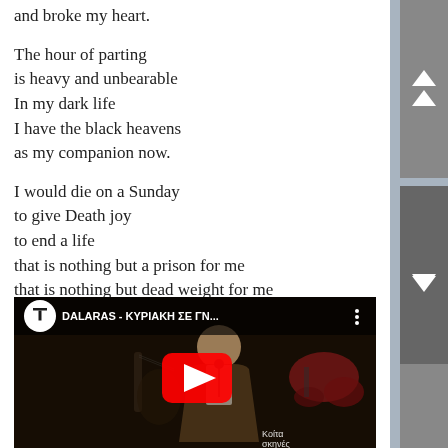and broke my heart.

The hour of parting
is heavy and unbearable
In my dark life
I have the black heavens
as my companion now.

I would die on a Sunday
to give Death joy
to end a life
that is nothing but a prison for me
that is nothing but dead weight for me
[Figure (screenshot): YouTube video thumbnail showing a man singing at a microphone, with drums and guitar visible in the background. Video title reads 'DALARAS - ΚΥΡΙΑΚΗ ΣΕ ΓΝ...' with a YouTube play button overlay. Subtitle shows 'Κοίτα σκηνές' in bottom right corner.]